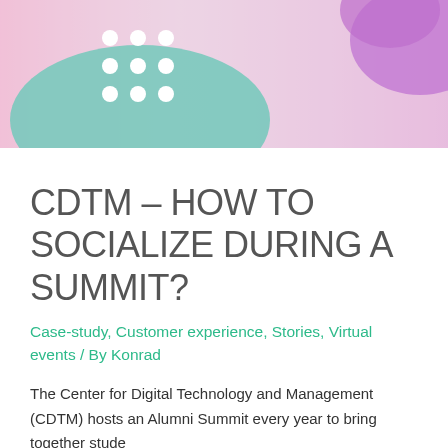[Figure (illustration): Decorative header banner with abstract colorful shapes — teal blob, purple/pink gradient blobs, white dots on pink/purple background]
CDTM – HOW TO SOCIALIZE DURING A SUMMIT?
Case-study, Customer experience, Stories, Virtual events / By Konrad
The Center for Digital Technology and Management (CDTM) hosts an Alumni Summit every year to bring together stude includes works networking. Co The technical k to quickly provi setup for talk
We'd like to use cookies.
OK
Settings
Read More